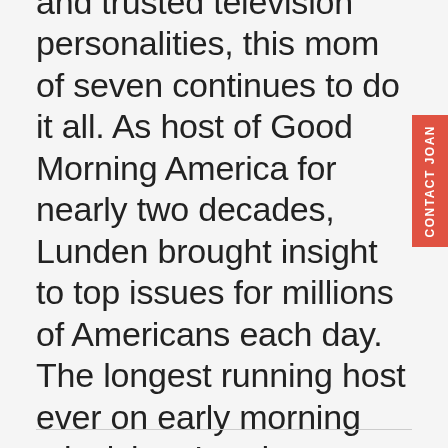and trusted television personalities, this mom of seven continues to do it all. As host of Good Morning America for nearly two decades, Lunden brought insight to top issues for millions of Americans each day. The longest running host ever on early morning television, Lunden reported from 26 countries, covered 4 presidents and 5 Olympics and kept Americans up to date on how to care for their homes, their families and themselves.